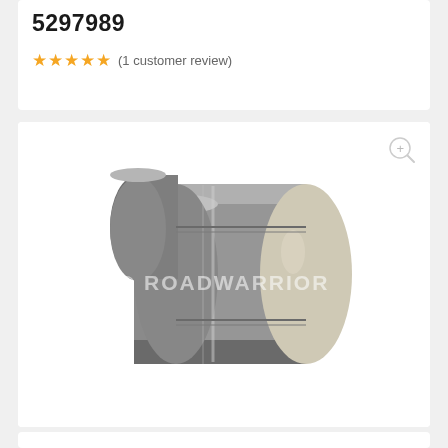5297989
★★★★★ (1 customer review)
[Figure (illustration): 3D rendering of a cylindrical diesel particulate filter / DPF canister shown in grey metallic finish. The cylindrical part body is dark grey and the end cap face is light beige/tan. A watermark reads © ROADWARRIOR in white text across the center.]